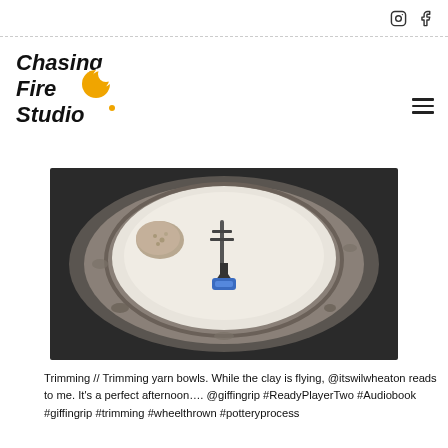Chasing Fire Studio — social media page header with Instagram and Facebook icons
[Figure (photo): Overhead view of a pottery wheel with a ceramic bowl being trimmed using a Giffin Grip tool. A sponge sits to the left of the bowl. Clay residue surrounds the wheel.]
Trimming // Trimming yarn bowls. While the clay is flying, @itswilwheaton reads to me. It's a perfect afternoon…. @giffingrip #ReadyPlayerTwo #Audiobook #giffingrip #trimming #wheelthrown #potteryprocess